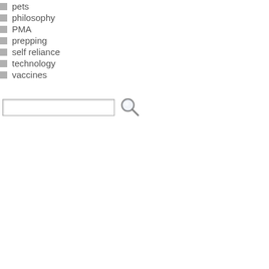pets
philosophy
PMA
prepping
self reliance
technology
vaccines
his spring breaking January has allowed a number of o